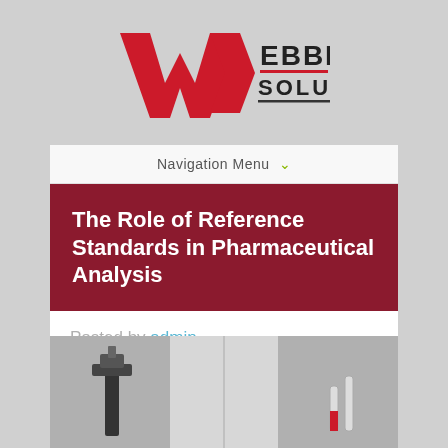[Figure (logo): Webbiz Solution logo with red W icon and EBBIZ SOLUTION text in black with red underline]
Navigation Menu ∨
The Role of Reference Standards in Pharmaceutical Analysis
Posted by admin , on Jul, 2016
[Figure (photo): Scientist in white lab coat and gloves holding laboratory equipment, microscope visible, test tubes on right]